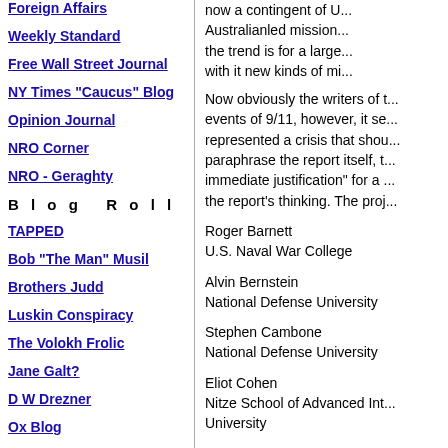Foreign Affairs
Weekly Standard
Free Wall Street Journal
NY Times "Caucus" Blog
Opinion Journal
NRO Corner
NRO - Geraghty
B l o g  R o l l
TAPPED
Bob "The Man" Musil
Brothers Judd
Luskin Conspiracy
The Volokh Frolic
Jane Galt?
D W Drezner
Ox Blog
Cut Out the Bias
now a contingent of U... Australianled mission... the trend is for a large... with it new kinds of mi...
Now obviously the writers of t... events of 9/11, however, it se... represented a crisis that shou... paraphrase the report itself, t... immediate justification" for a ... the report's thinking. The proj...
Roger Barnett
U.S. Naval War College
Alvin Bernstein
National Defense University
Stephen Cambone
National Defense University
Eliot Cohen
Nitze School of Advanced Int... University
Devon Gaffney Cross